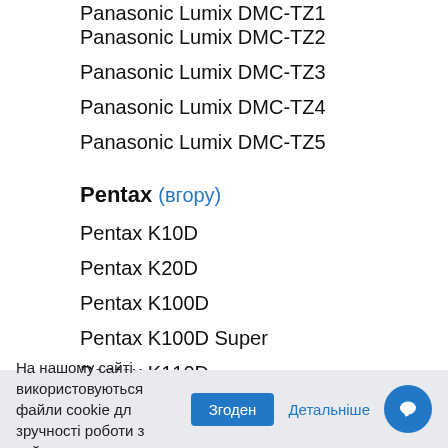Panasonic Lumix DMC-TZ2
Panasonic Lumix DMC-TZ3
Panasonic Lumix DMC-TZ4
Panasonic Lumix DMC-TZ5
Pentax (вгору)
Pentax K10D
Pentax K20D
Pentax K100D
Pentax K100D Super
Pentax K110D
Pentax K200D
Pentax Optio 50
Pentax Optio 50L
На нашому сайті використовуються файли cookie для зручності роботи з сайтом. Згоден Детальніше